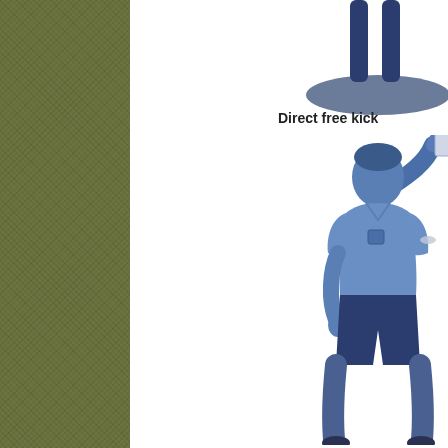[Figure (illustration): Olive green textured sidebar on the left third of the page]
[Figure (illustration): Top portion of a referee figure with legs and a dark oval shadow beneath, labeled Direct free kick]
Direct free kick
[Figure (illustration): Full referee figure in blue tone holding a card up with right arm raised, wearing sports uniform with shorts]
Indi